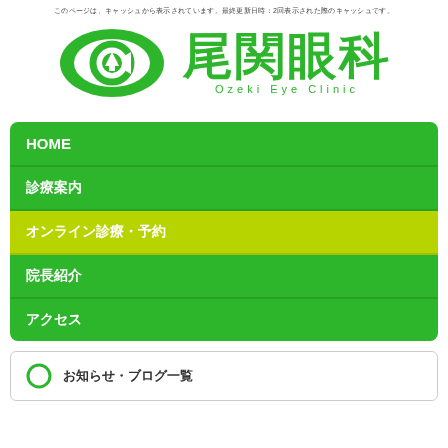このページは、キャッシュから表示されています。最終更新日時：2回表示された際のキャッシュです。
[Figure (logo): Ozeki Eye Clinic logo with green eye shape containing letter C and tree symbol, with Japanese text 尾関眼科 and subtitle Ozeki Eye Clinic]
HOME
診療案内
オンライン診療・予約
院長紹介
アクセス
お知らせ・ブログ一覧